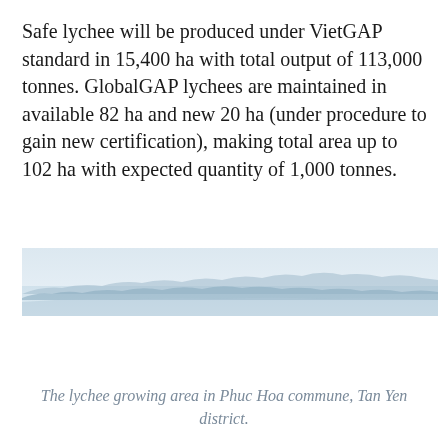Safe lychee will be produced under VietGAP standard in 15,400 ha with total output of 113,000 tonnes. GlobalGAP lychees are maintained in available 82 ha and new 20 ha (under procedure to gain new certification), making total area up to 102 ha with expected quantity of 1,000 tonnes.
[Figure (photo): A wide panoramic landscape photo showing a distant treeline and hills under a pale sky, appearing to be a lychee growing area near a lake or river.]
The lychee growing area in Phuc Hoa commune, Tan Yen district.